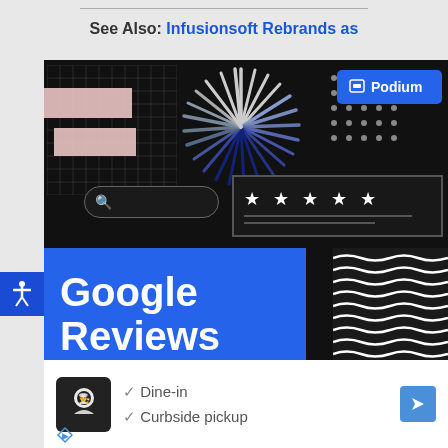See Also: Infusionsoft Rebrands as
[Figure (illustration): Dark background promotional graphic for 'Google Reviews 101' featuring a blue block with bold white text, Podium branding button, star rating box, search bar, grid pattern, starburst graphic, dot pattern, pink rectangles, and wavy lines pattern.]
[Figure (screenshot): Google Maps listing snippet showing a restaurant with chef icon logo, checkmarks for 'Dine-in' and 'Curbside pickup', a directions arrow icon, and ad disclosure icons.]